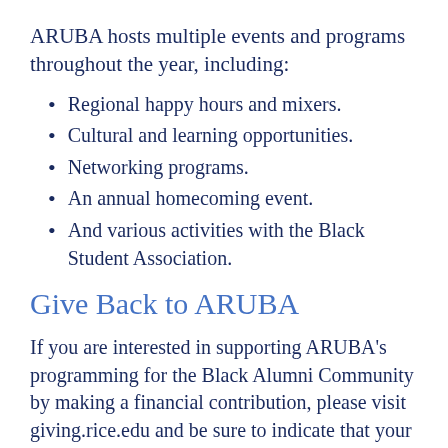ARUBA hosts multiple events and programs throughout the year, including:
Regional happy hours and mixers.
Cultural and learning opportunities.
Networking programs.
An annual homecoming event.
And various activities with the Black Student Association.
Give Back to ARUBA
If you are interested in supporting ARUBA's programming for the Black Alumni Community by making a financial contribution, please visit giving.rice.edu and be sure to indicate that your gift…